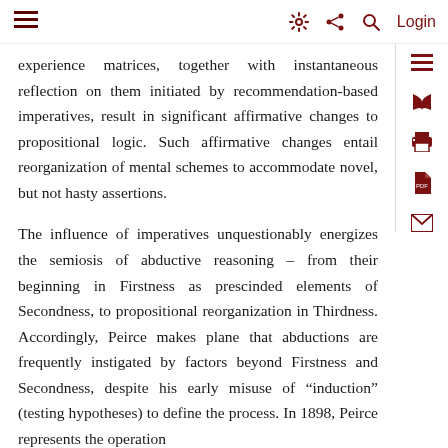Navigation bar with menu, settings, share, search, and login
experience matrices, together with instantaneous reflection on them initiated by recommendation-based imperatives, result in significant affirmative changes to propositional logic. Such affirmative changes entail reorganization of mental schemes to accommodate novel, but not hasty assertions.
The influence of imperatives unquestionably energizes the semiosis of abductive reasoning – from their beginning in Firstness as prescinded elements of Secondness, to propositional reorganization in Thirdness. Accordingly, Peirce makes plane that abductions are frequently instigated by factors beyond Firstness and Secondness, despite his early misuse of “induction” (testing hypotheses) to define the process. In 1898, Peirce represents the operation